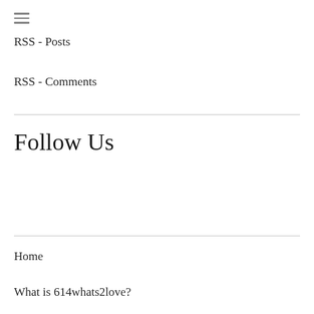[Figure (other): Hamburger menu icon — three horizontal lines]
RSS - Posts
RSS - Comments
Follow Us
Home
What is 614whats2love?